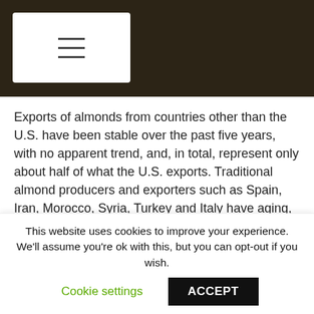≡
Exports of almonds from countries other than the U.S. have been stable over the past five years, with no apparent trend, and, in total, represent only about half of what the U.S. exports. Traditional almond producers and exporters such as Spain, Iran, Morocco, Syria, Turkey and Italy have aging, low-yielding trees and show little potential for expanded production. Today, production in these countries mainly serves their domestic markets.
[Figure (photo): Photograph of almond tree foliage with sunlight visible through branches and leaves against a blue sky]
This website uses cookies to improve your experience. We'll assume you're ok with this, but you can opt-out if you wish.
Cookie settings   ACCEPT